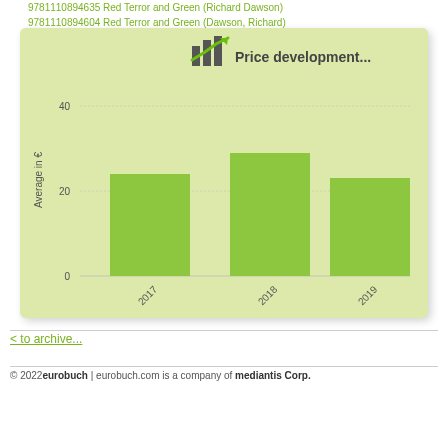9781110894635 Red Terror and Green (Richard Dawson)
9781110894604 Red Terror and Green (Dawson, Richard)
More...
[Figure (bar-chart): Price development...]
< to archive...
© 2022eurobuch | eurobuch.com is a company of mediantis Corp.